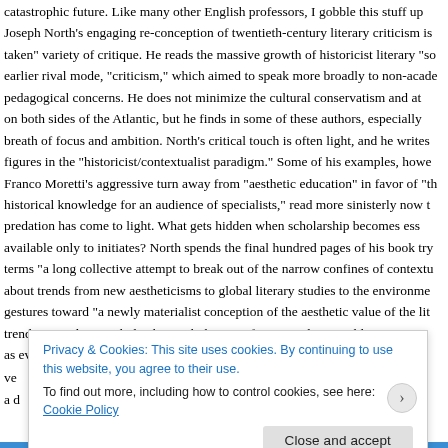catastrophic future. Like many other English professors, I gobble this stuff up. Joseph North's engaging re-conception of twentieth-century literary criticism is taken" variety of critique. He reads the massive growth of historicist literary "so earlier rival mode, "criticism," which aimed to speak more broadly to non-acade pedagogical concerns. He does not minimize the cultural conservatism and at on both sides of the Atlantic, but he finds in some of these authors, especially breath of focus and ambition. North's critical touch is often light, and he writes figures in the "historicist/contextualist paradigm." Some of his examples, howe Franco Moretti's aggressive turn away from "aesthetic education" in favor of "th historical knowledge for an audience of specialists," read more sinisterly now t predation has come to light. What gets hidden when scholarship becomes ess available only to initiates? North spends the final hundred pages of his book try terms "a long collective attempt to break out of the narrow confines of contextu about trends from new aestheticisms to global literary studies to the environme gestures toward "a newly materialist conception of the aesthetic value of the li trends in academic scholarship with the rise of para-academic publications suc as evidence of an emerging "positive 'presentism'" that may herald a pendular
ve th a d
Privacy & Cookies: This site uses cookies. By continuing to use this website, you agree to their use.
To find out more, including how to control cookies, see here: Cookie Policy
Close and accept